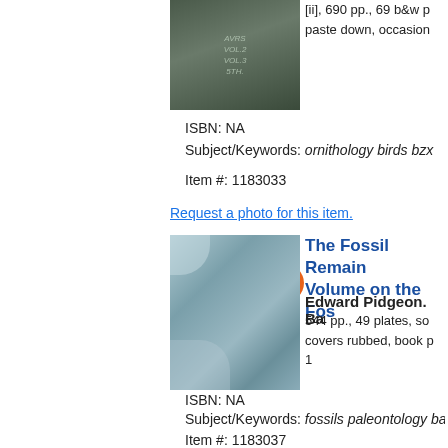[Figure (photo): Old book spine photograph, dark green/gray cloth binding with faded gilt lettering showing volume numbers]
[ii], 690 pp., 69 b&w p paste down, occasion
ISBN: NA
Subject/Keywords: ornithology birds bzx
Item #: 1183033
Request a photo for this item.
$207.18
Add To Cart
[Figure (photo): Old book cover photograph, worn blue-gray cloth boards with rubbed corners and some damage]
The Fossil Remain... Volume on the Fos...
Edward Pidgeon. Ba...
544 pp., 49 plates, so... covers rubbed, book p... 1
ISBN: NA
Subject/Keywords: fossils paleontology ba...
Request a photo for this item.
$193.31